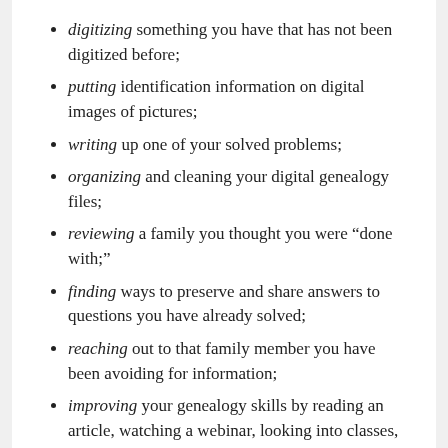digitizing something you have that has not been digitized before;
putting identification information on digital images of pictures;
writing up one of your solved problems;
organizing and cleaning your digital genealogy files;
reviewing a family you thought you were “done with;”
finding ways to preserve and share answers to questions you have already solved;
reaching out to that family member you have been avoiding for information;
improving your genealogy skills by reading an article, watching a webinar, looking into classes, etc.;
washing the dishes.
That last one was a joke. There are a variety of genealogy things you can do when you have “genealogy time,” but that brick wall has you frustrated.
Come to think of it, washing the dishes (or doing one non-